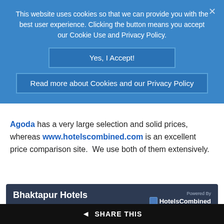This website uses cookies so that we can provide you with the best user experience. Clicking the button means you accept our Cookie Use and Privacy Policy.
Yes, I Accept!
Read more about Cookies and our Privacy Policy
Agoda has a very large selection and solid prices, whereas www.hotelscombined.com is an excellent price comparison site.  We use both of them extensively.
[Figure (screenshot): Bhaktapur Hotels hotel search widget with Check-in date selector (Day and Month dropdowns), powered by HotelsCombined]
SHARE THIS